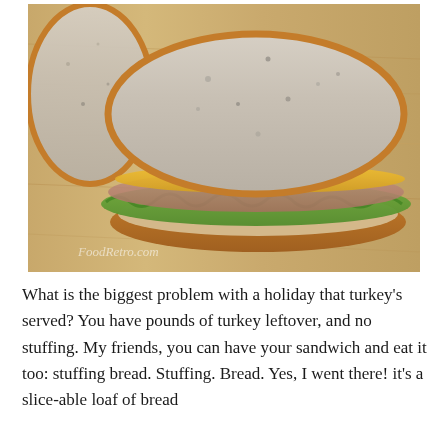[Figure (photo): A turkey sandwich with lettuce and cheese on whole wheat bread, sitting on a wooden cutting board. A loose slice of bread is visible in the upper left. Watermark reads 'FoodRetro.com' in the lower left corner.]
What is the biggest problem with a holiday that turkey's served? You have pounds of turkey leftover, and no stuffing. My friends, you can have your sandwich and eat it too: stuffing bread. Stuffing. Bread. Yes, I went there! it's a slice-able loaf of bread